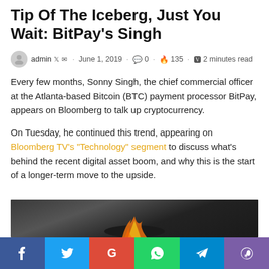Tip Of The Iceberg, Just You Wait: BitPay's Singh
admin · June 1, 2019 · 0 · 135 · 2 minutes read
Every few months, Sonny Singh, the chief commercial officer at the Atlanta-based Bitcoin (BTC) payment processor BitPay, appears on Bloomberg to talk up cryptocurrency.
On Tuesday, he continued this trend, appearing on Bloomberg TV's "Technology" segment to discuss what's behind the recent digital asset boom, and why this is the start of a longer-term move to the upside.
[Figure (photo): Dark smoky background with flames at the bottom, partial image of a Bitcoin or fire-related scene]